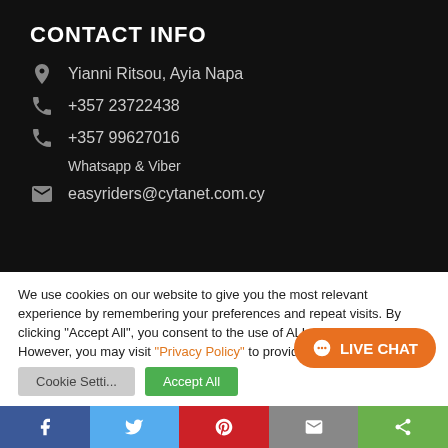CONTACT INFO
Yianni Ritsou, Ayia Napa
+357 23722438
+357 99627016
Whatsapp & Viber
easyriders@cytanet.com.cy
We use cookies on our website to give you the most relevant experience by remembering your preferences and repeat visits. By clicking “Accept All”, you consent to the use of ALL the cookies. However, you may visit "Privacy Policy" to provide a controlled consent.
[Figure (infographic): Orange live chat button with speech bubble icon and text LIVE CHAT]
[Figure (infographic): Social sharing bar with Facebook, Twitter, Pinterest, Email, and Share icons]